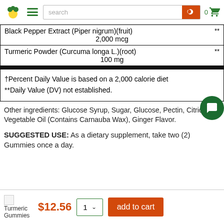Search bar navigation with logo, hamburger menu, search input, and cart
| Ingredient | Amount | DV |
| --- | --- | --- |
| Black Pepper Extract (Piper nigrum)(fruit) | 2,000 mcg | ** |
| Turmeric Powder (Curcuma longa L.)(root) | 100 mg | ** |
†Percent Daily Value is based on a 2,000 calorie diet
**Daily Value (DV) not established.
Other ingredients: Glucose Syrup, Sugar, Glucose, Pectin, Citric Acid, Vegetable Oil (Contains Carnauba Wax), Ginger Flavor.
SUGGESTED USE: As a dietary supplement, take two (2) Gummies once a day.
Turmeric Gummies  $12.56  1  add to cart